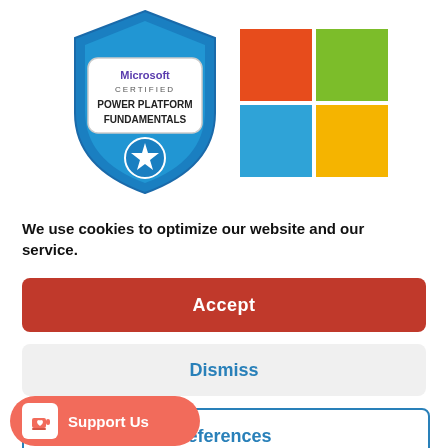[Figure (logo): Microsoft Certified Power Platform Fundamentals badge alongside Microsoft four-color logo]
We use cookies to optimize our website and our service.
Accept
Dismiss
references
[Figure (logo): Ko-fi Support Us button with heart icon]